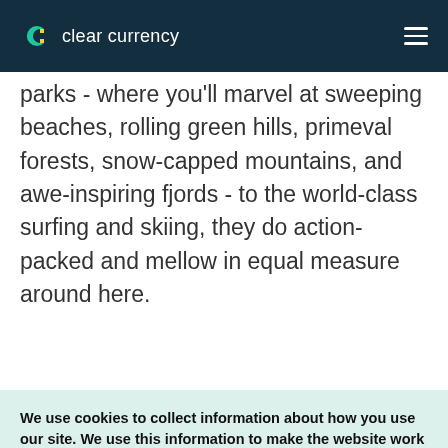clear currency
parks - where you'll marvel at sweeping beaches, rolling green hills, primeval forests, snow-capped mountains, and awe-inspiring fjords - to the world-class surfing and skiing, they do action-packed and mellow in equal measure around here.
We use cookies to collect information about how you use our site. We use this information to make the website work as well as possible and improve our services.
aesthetically, both islands are aligned socially, with